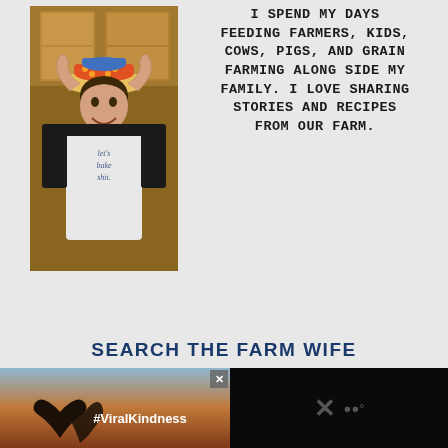[Figure (photo): Woman smiling, holding colorful stacked bowls above her head in a kitchen, wearing a 'let's bake shit.' t-shirt]
I SPEND MY DAYS FEEDING FARMERS, KIDS, COWS, PIGS, AND GRAIN FARMING ALONG SIDE MY FAMILY. I LOVE SHARING STORIES AND RECIPES FROM OUR FARM.
SEARCH THE FARM WIFE
Search this website
[Figure (photo): Advertisement banner with hands making a heart shape against a sunset sky, with text #ViralKindness]